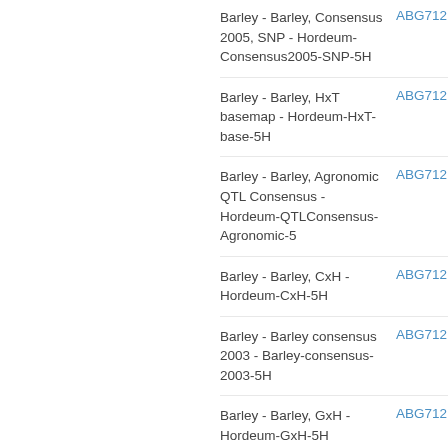Barley - Barley, Consensus 2005, SNP - Hordeum-Consensus2005-SNP-5H	ABG712
Barley - Barley, HxT basemap - Hordeum-HxT-base-5H	ABG712
Barley - Barley, Agronomic QTL Consensus - Hordeum-QTLConsensus-Agronomic-5	ABG712
Barley - Barley, CxH - Hordeum-CxH-5H	ABG712
Barley - Barley consensus 2003 - Barley-consensus-2003-5H	ABG712
Barley - Barley, GxH - Hordeum-GxH-5H	ABG712
Barley - Barley, Abiotic QTL Consensus - Hordeum-QTLConsensus-Abiotic-5H	ABG712
Barley - Barley, Zhedar2, FHB QTL - Hordeum-Zhedar2-FHB-QTL-5H	ABG712